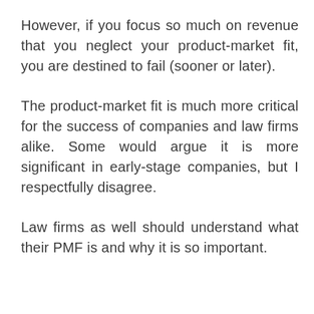However, if you focus so much on revenue that you neglect your product-market fit, you are destined to fail (sooner or later).
The product-market fit is much more critical for the success of companies and law firms alike. Some would argue it is more significant in early-stage companies, but I respectfully disagree.
Law firms as well should understand what their PMF is and why it is so important.